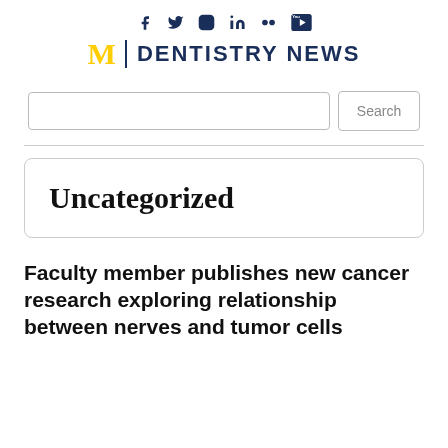M | DENTISTRY NEWS
Uncategorized
Faculty member publishes new cancer research exploring relationship between nerves and tumor cells